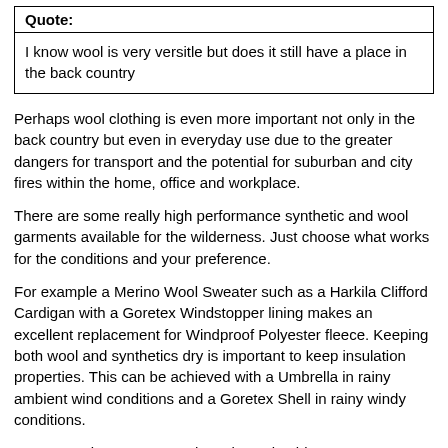| Quote: |
| --- |
| I know wool is very versitle but does it still have a place in the back country |
Perhaps wool clothing is even more important not only in the back country but even in everyday use due to the greater dangers for transport and the potential for suburban and city fires within the home, office and workplace.
There are some really high performance synthetic and wool garments available for the wilderness. Just choose what works for the conditions and your preference.
For example a Merino Wool Sweater such as a Harkila Clifford Cardigan with a Goretex Windstopper lining makes an excellent replacement for Windproof Polyester fleece. Keeping both wool and synthetics dry is important to keep insulation properties. This can be achieved with a Umbrella in rainy ambient wind conditions and a Goretex Shell in rainy windy conditions.
Even a Merino sweater such as the Columbia Sportsware Exploratory Sweater combined with a Cotton Ventile Windproof will work over quite a range of temperatures.
I do like Merino Wool as I find it tends to regulates body